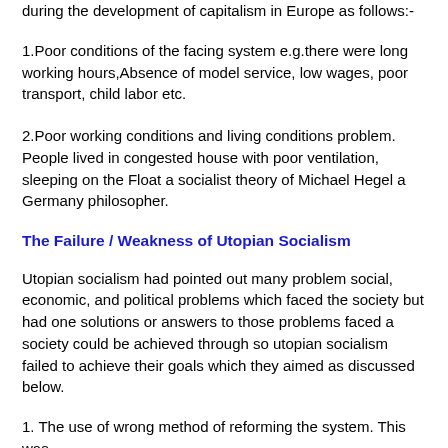during the development of capitalism in Europe as follows:-
1.Poor conditions of the facing system e.g.there were long working hours,Absence of model service, low wages, poor transport, child labor etc.
2.Poor working conditions and living conditions problem. People lived in congested house with poor ventilation, sleeping on the Float a socialist theory of Michael Hegel a Germany philosopher.
The Failure / Weakness of Utopian Socialism
Utopian socialism had pointed out many problem social, economic, and political problems which faced the society but had one solutions or answers to those problems faced a society could be achieved through so utopian socialism failed to achieve their goals which they aimed as discussed below.
1. The use of wrong method of reforming the system. This was